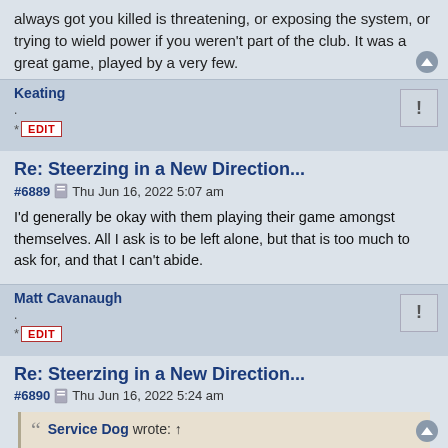always got you killed is threatening, or exposing the system, or trying to wield power if you weren't part of the club. It was a great game, played by a very few.
Keating
Re: Steerzing in a New Direction...
#6889  Thu Jun 16, 2022 5:07 am
I'd generally be okay with them playing their game amongst themselves. All I ask is to be left alone, but that is too much to ask for, and that I can't abide.
Matt Cavanaugh
Re: Steerzing in a New Direction...
#6890  Thu Jun 16, 2022 5:24 am
Service Dog wrote: ↑
blurring out the big black butt from that video is like blurring out the